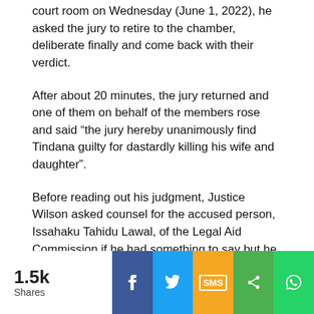court room on Wednesday (June 1, 2022), he asked the jury to retire to the chamber, deliberate finally and come back with their verdict.
After about 20 minutes, the jury returned and one of them on behalf of the members rose and said “the jury hereby unanimously find Tindana guilty for dastardly killing his wife and daughter”.
Before reading out his judgment, Justice Wilson asked counsel for the accused person, Issahaku Tahidu Lawal, of the Legal Aid Commission if he had something to say but he told the court he had nothing to say.
[Figure (infographic): Social share bar showing 1.5k Shares, with buttons for Facebook, Twitter, SMS, general share, and WhatsApp]